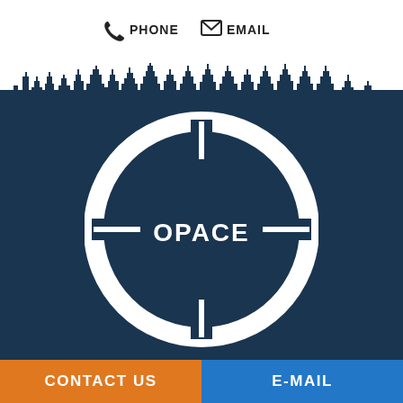[Figure (logo): OPACE logo with crosshair/target circle design on dark navy background with city skyline silhouette]
PHONE  EMAIL
CONTACT US
E-MAIL